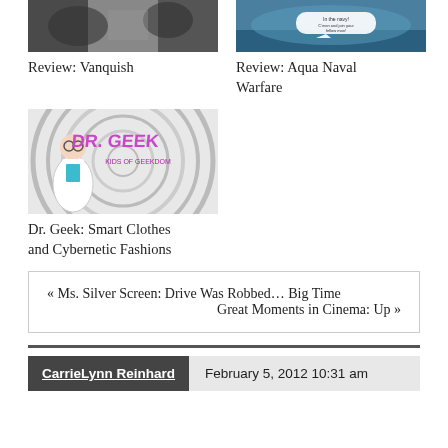[Figure (photo): Thumbnail image for Review: Vanquish — dark action game screenshot]
Review: Vanquish
[Figure (photo): Thumbnail image for Review: Aqua Naval Warfare — naval warfare game screenshot with speech bubble]
Review: Aqua Naval Warfare
[Figure (illustration): Dr. Geek: Smart Clothes and Cybernetic Fashions — cartoon illustration of Dr. Geek character with swirl background and purple text]
Dr. Geek: Smart Clothes and Cybernetic Fashions
« Ms. Silver Screen: Drive Was Robbed… Big Time
Great Moments in Cinema: Up »
CarrieLynn Reinhard   February 5, 2012 10:31 am